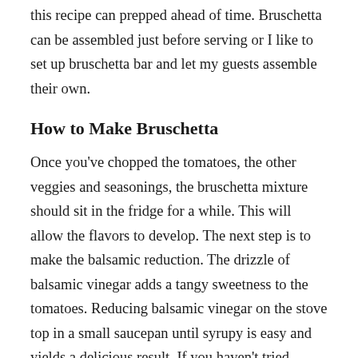this recipe can prepped ahead of time. Bruschetta can be assembled just before serving or I like to set up bruschetta bar and let my guests assemble their own.
How to Make Bruschetta
Once you've chopped the tomatoes, the other veggies and seasonings, the bruschetta mixture should sit in the fridge for a while. This will allow the flavors to develop. The next step is to make the balsamic reduction. The drizzle of balsamic vinegar adds a tangy sweetness to the tomatoes. Reducing balsamic vinegar on the stove top in a small saucepan until syrupy is easy and yields a delicious result. If you haven't tried making it, do it! You won't be disappointed.